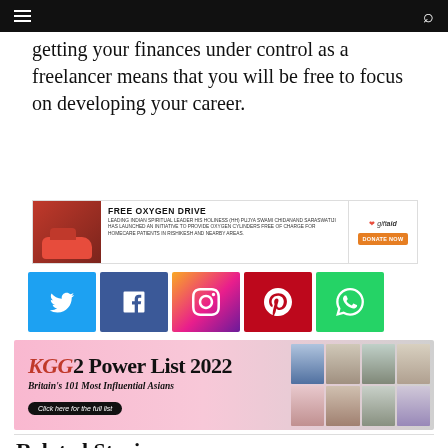navigation bar with menu and search icons
getting your finances under control as a freelancer means that you will be free to focus on developing your career.
[Figure (infographic): FREE OXYGEN DRIVE advertisement banner. Leading Indian spiritual leader His Holiness (HH) Pujya Swami Chidanand Saraswatiji has launched an initiative to provide oxygen cylinders free of charge for homecare patients in Rishikesh and nearby areas. With a photo on the left and a giftaid donate now button on the right.]
[Figure (infographic): Social media sharing buttons row: Twitter (blue), Facebook (dark blue), Instagram (gradient), Pinterest (red), WhatsApp (green)]
[Figure (infographic): GG2 Power List 2022 - Britain's 101 Most Influential Asians banner advertisement with photos of influential Asian people on the right side and a 'Click here for the full list' button.]
Related Stories